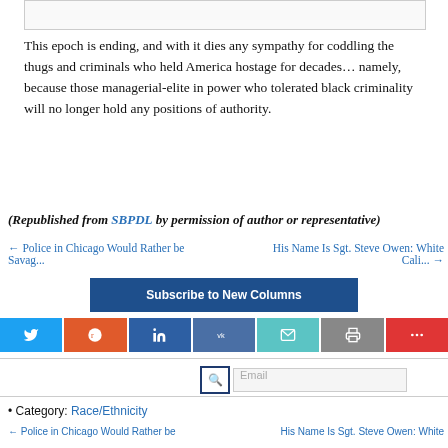This epoch is ending, and with it dies any sympathy for coddling the thugs and criminals who held America hostage for decades… namely, because those managerial-elite in power who tolerated black criminality will no longer hold any positions of authority.
(Republished from SBPDL by permission of author or representative)
← Police in Chicago Would Rather be Savag...
His Name Is Sgt. Steve Owen: White Cali... →
Subscribe to New Columns
[Figure (other): Social sharing buttons: Twitter, Reddit, LinkedIn, VK, Email, Print, More]
Email
• Category: Race/Ethnicity
← Police in Chicago Would Rather be
His Name Is Sgt. Steve Owen: White